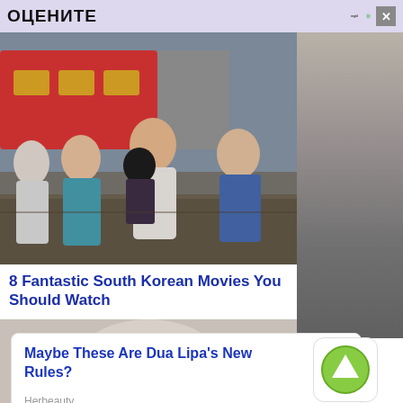ОЦЕНИТЕ
[Figure (photo): Action scene from a South Korean movie showing people running near a train]
8 Fantastic South Korean Movies You Should Watch
[Figure (photo): Partial body/torso photo in black and white]
Maybe These Are Dua Lipa's New Rules?
Herbeauty
[Figure (photo): Outdoor photo showing a cinema/multiplex building with colorful signage in Russian]